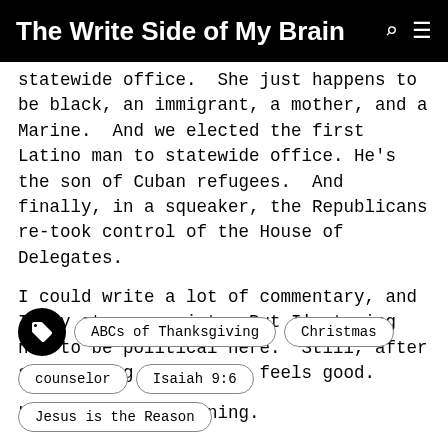The Write Side of My Brain
statewide office.  She just happens to be black, an immigrant, a mother, and a Marine.  And we elected the first Latino man to statewide office. He's the son of Cuban refugees.  And finally, in a squeaker, the Republicans re-took control of the House of Delegates.
I could write a lot of commentary, and I may at some point.  But I'm trying not to be political here.  Still, after such a long time, this feels good.
Like Christmas morning.
ABCs of Thanksgiving
Christmas
counselor
Isaiah 9:6
Jesus is the Reason